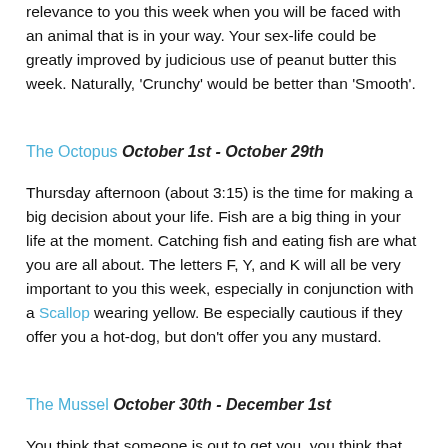relevance to you this week when you will be faced with an animal that is in your way. Your sex-life could be greatly improved by judicious use of peanut butter this week. Naturally, 'Crunchy' would be better than 'Smooth'.
The Octopus October 1st - October 29th
Thursday afternoon (about 3:15) is the time for making a big decision about your life. Fish are a big thing in your life at the moment. Catching fish and eating fish are what you are all about. The letters F, Y, and K will all be very important to you this week, especially in conjunction with a Scallop wearing yellow. Be especially cautious if they offer you a hot-dog, but don't offer you any mustard.
The Mussel October 30th - December 1st
You think that someone is out to get you, you think that they want to see you squashed like a bug. You are wrong. They are wrong. Everyone is wrong. If someone should happen to comment that you look just a little bit like Aristotle, then